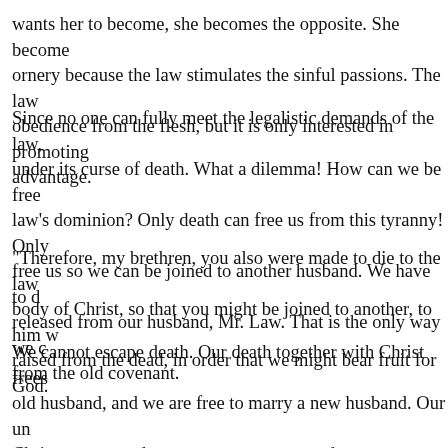wants her to become, she becomes the opposite. She becomes ornery because the law stimulates the sinful passions. The law obedience from the flesh, but it is only interested in promoting advantage.
Since no one can fully meet the legalistic demands of the law, under its curse of death. What a dilemma! How can we be free law's dominion? Only death can free us from this tyranny! Only free us so we can be joined to another husband. We have to d released from our husband, Mr. Law. That is the only way we c from the old covenant.
"Therefore, my brethren, you also were made to die to the law body of Christ, so that you might be joined to another, to him w raised from the dead, in order that we might bear fruit for God.
We cannot escape death. Our death together with Christ frees old husband, and we are free to marry a new husband. Our un Christ puts us under new management; we have a new husba loves us and a new law of life! We have died to the old covena now have a new covenant, a new husband.